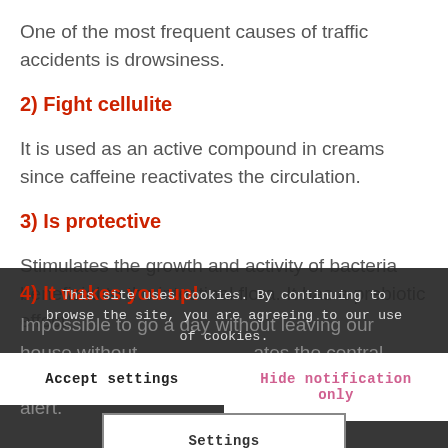One of the most frequent causes of traffic accidents is drowsiness.
2) Fight cellulite
It is used as an active compound in creams since caffeine reactivates the circulation.
3) Is protective
Stimulates the growth and activity of bacteria beneficial to the intestinal flora. It has a prebiotic effect.
4) It wakes you up!
Impossible to go a day without leaving our house without... stimulates the central nervous system. We wake up and are more alert.
This site uses cookies. By continuing to browse the site, you are agreeing to our use of cookies.
Accept settings
Hide notification only
Settings